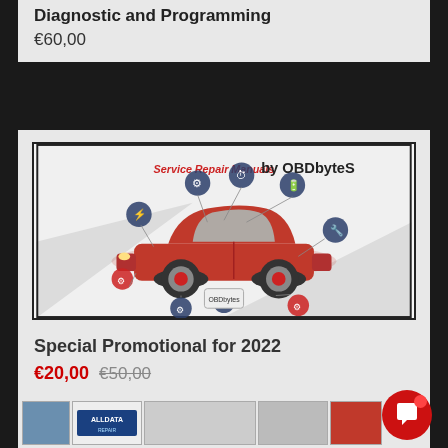Diagnostic and Programming
€60,00
[Figure (illustration): Service Repair Manuals by OBDbyteS logo with red MINI Cooper car surrounded by automotive service icons (engine, tire, wrench, etc.) on a light grey angled background]
Special Promotional for 2022
€20,00  €50,00
SALE
[Figure (screenshot): Partial view of another product card showing ALLDATA repair software thumbnails]